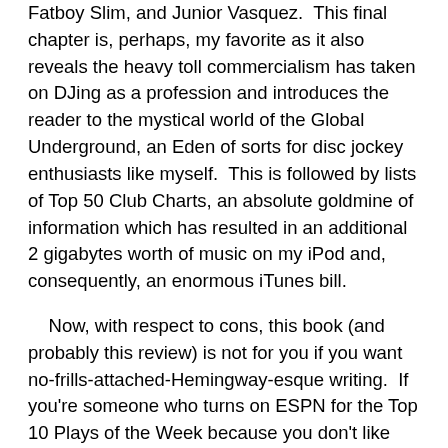Fatboy Slim, and Junior Vasquez.  This final chapter is, perhaps, my favorite as it also reveals the heavy toll commercialism has taken on DJing as a profession and introduces the reader to the mystical world of the Global Underground, an Eden of sorts for disc jockey enthusiasts like myself.  This is followed by lists of Top 50 Club Charts, an absolute goldmine of information which has resulted in an additional 2 gigabytes worth of music on my iPod and, consequently, an enormous iTunes bill.
Now, with respect to cons, this book (and probably this review) is not for you if you want no-frills-attached-Hemingway-esque writing.  If you're someone who turns on ESPN for the Top 10 Plays of the Week because you don't like watching entire games, you won't enjoy this book.  At times, it seems to get bogged down by its own plethora of information; however, if you enjoy an engaging, witty, and intellectual history of music, you'll love Last Night a DJ Saved My Life: The History of the Disc Jockey.